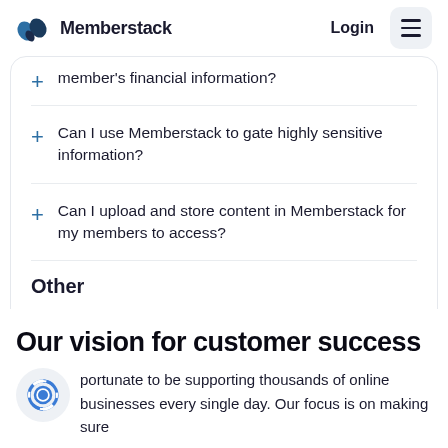Memberstack  Login
member's financial information?
Can I use Memberstack to gate highly sensitive information?
Can I upload and store content in Memberstack for my members to access?
Other
I'd really prefer to email your team with a question, idea or feedback.
Our vision for customer success
portunate to be supporting thousands of online businesses every single day. Our focus is on making sure